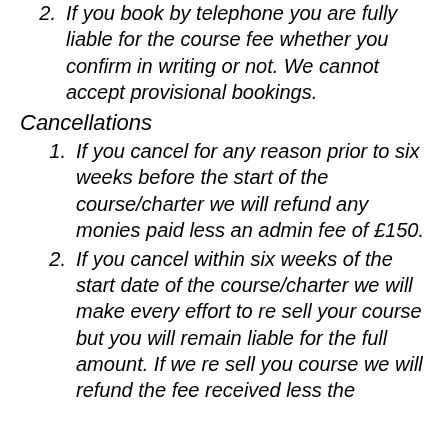2. If you book by telephone you are fully liable for the course fee whether you confirm in writing or not. We cannot accept provisional bookings.
Cancellations
1. If you cancel for any reason prior to six weeks before the start of the course/charter we will refund any monies paid less an admin fee of £150.
2. If you cancel within six weeks of the start date of the course/charter we will make every effort to re sell your course but you will remain liable for the full amount. If we re sell you course we will refund the fee received less the admin fee of £150.